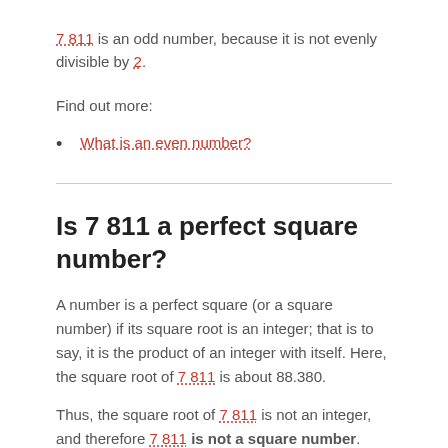7 811 is an odd number, because it is not evenly divisible by 2.
Find out more:
What is an even number?
Is 7 811 a perfect square number?
A number is a perfect square (or a square number) if its square root is an integer; that is to say, it is the product of an integer with itself. Here, the square root of 7 811 is about 88.380.
Thus, the square root of 7 811 is not an integer, and therefore 7 811 is not a square number.